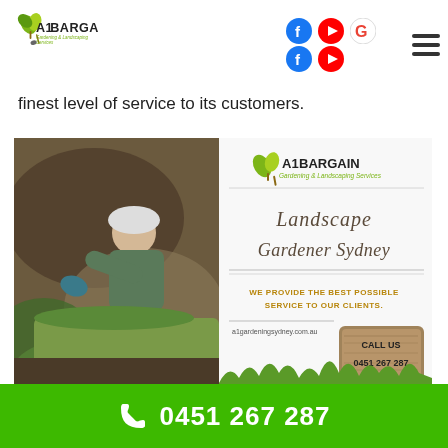A1 Bargain Gardening & Landscaping Services — logo and navigation header
finest level of service to its customers.
[Figure (photo): A promotional advertisement image for A1 Bargain Gardening & Landscaping Services showing a gardener laying turf/grass on the left side, and on the right side: company logo, cursive text 'Landscape Gardener Sydney', tagline 'WE PROVIDE THE BEST POSSIBLE SERVICE TO OUR CLIENTS.', website a1gardeningsydney.com.au, and a wooden sign reading 'CALL US 0451 267 287' with decorative flowers.]
0451 267 287